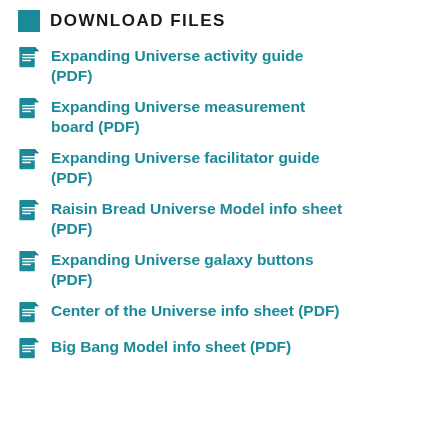DOWNLOAD FILES
Expanding Universe activity guide (PDF)
Expanding Universe measurement board (PDF)
Expanding Universe facilitator guide (PDF)
Raisin Bread Universe Model info sheet (PDF)
Expanding Universe galaxy buttons (PDF)
Center of the Universe info sheet (PDF)
Big Bang Model info sheet (PDF)